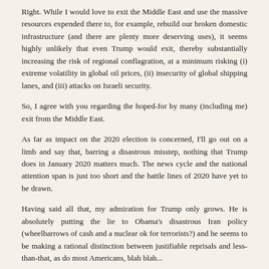Right. While I would love to exit the Middle East and use the massive resources expended there to, for example, rebuild our broken domestic infrastructure (and there are plenty more deserving uses), it seems highly unlikely that even Trump would exit, thereby substantially increasing the risk of regional conflagration, at a minimum risking (i) extreme volatility in global oil prices, (ii) insecurity of global shipping lanes, and (iii) attacks on Israeli security.
So, I agree with you regarding the hoped-for by many (including me) exit from the Middle East.
As far as impact on the 2020 election is concerned, I'll go out on a limb and say that, barring a disastrous misstep, nothing that Trump does in January 2020 matters much. The news cycle and the national attention span is just too short and the battle lines of 2020 have yet to be drawn.
Having said all that, my admiration for Trump only grows. He is absolutely putting the lie to Obama's disastrous Iran policy (wheelbarrows of cash and a nuclear ok for terrorists?) and he seems to be making a rational distinction between justifiable reprisals and less-than-that, as do most Americans, blah blah...